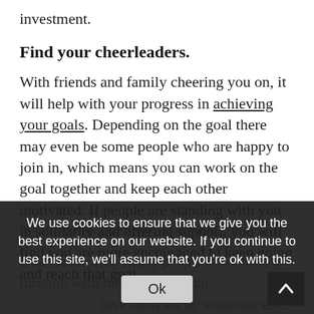investment.
Find your cheerleaders.
With friends and family cheering you on, it will help with your progress in achieving your goals. Depending on the goal there may even be some people who are happy to join in, which means you can work on the goal together and keep each other motivated. If people are standing with you in solidarity and offering support, you will find you are more encouraged to keep going and reach that goal and prove to them that you can do it.
One reason why many people don't follow through with their goals is that they have been set by someone else rather than being self-motivated. For
We use cookies to ensure that we give you the best experience on our website. If you continue to use this site, we'll assume that you're ok with this.